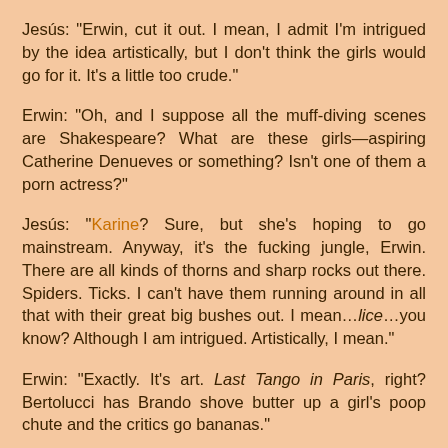Jesús: "Erwin, cut it out. I mean, I admit I'm intrigued by the idea artistically, but I don't think the girls would go for it. It's a little too crude."
Erwin: "Oh, and I suppose all the muff-diving scenes are Shakespeare? What are these girls—aspiring Catherine Denueves or something? Isn't one of them a porn actress?"
Jesús: "Karine? Sure, but she's hoping to go mainstream. Anyway, it's the fucking jungle, Erwin. There are all kinds of thorns and sharp rocks out there. Spiders. Ticks. I can't have them running around in all that with their great big bushes out. I mean…lice…you know? Although I am intrigued. Artistically, I mean."
Erwin: "Exactly. It's art. Last Tango in Paris, right? Bertolucci has Brando shove butter up a girl's poop chute and the critics go bananas."